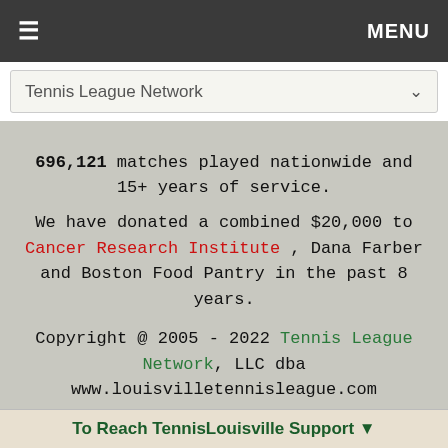≡  MENU
Tennis League Network ▾
696,121 matches played nationwide and 15+ years of service. We have donated a combined $20,000 to Cancer Research Institute , Dana Farber and Boston Food Pantry in the past 8 years.
Copyright @ 2005 - 2022 Tennis League Network, LLC dba www.louisvilletennisleague.com
Advertising with our Service
Privacy Policy | GDPR | Terms of Service | Copyright/IP/Policy
To Reach TennisLouisville Support ▼